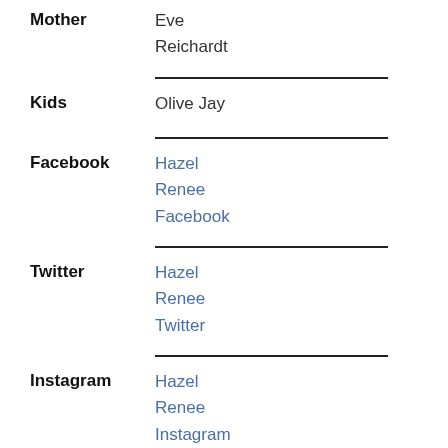Mother
Eve
Reichardt
Kids
Olive Jay
Facebook
Hazel
Renee
Facebook
Twitter
Hazel
Renee
Twitter
Instagram
Hazel
Renee
Instagram